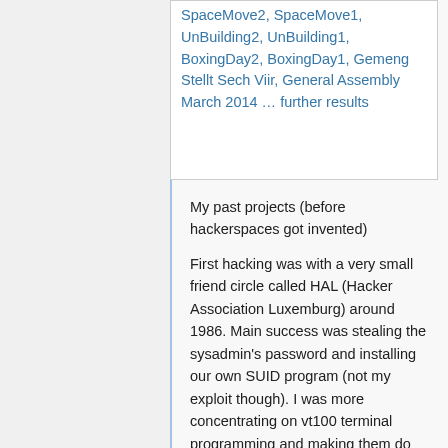SpaceMove2, SpaceMove1, UnBuilding2, UnBuilding1, BoxingDay2, BoxingDay1, Gemeng Stellt Sech Viir, General Assembly March 2014 … further results
My past projects (before hackerspaces got invented)
First hacking was with a very small friend circle called HAL (Hacker Association Luxemburg) around 1986. Main success was stealing the sysadmin's password and installing our own SUID program (not my exploit though). I was more concentrating on vt100 terminal programming and making them do things which are not really supposed to be possible.
Next came good old computer demo programming, in the times where computers were so low powered that 3D grafics was a huge task and even just moving some objects on the screen got the CPU to it's limits. I was founded a luxemburgish company...